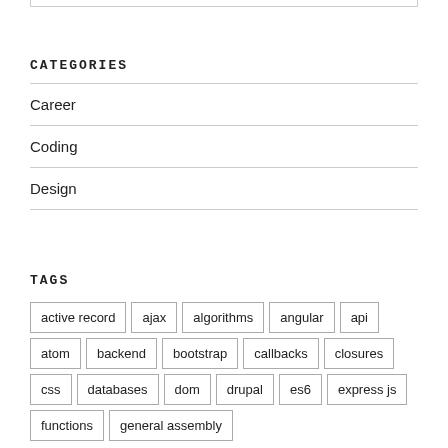CATEGORIES
Career
Coding
Design
TAGS
active record
ajax
algorithms
angular
api
atom
backend
bootstrap
callbacks
closures
css
databases
dom
drupal
es6
express js
functions
general assembly